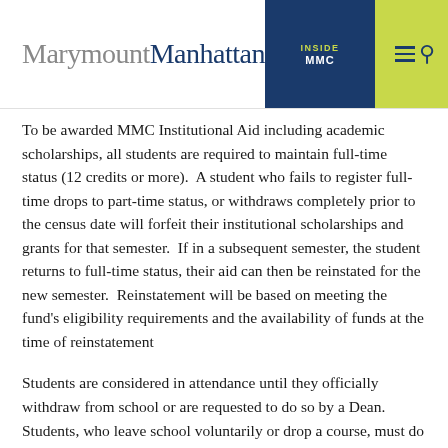MarymountManhattan — INSIDE MMC
To be awarded MMC Institutional Aid including academic scholarships, all students are required to maintain full-time status (12 credits or more).  A student who fails to register full-time drops to part-time status, or withdraws completely prior to the census date will forfeit their institutional scholarships and grants for that semester.  If in a subsequent semester, the student returns to full-time status, their aid can then be reinstated for the new semester.  Reinstatement will be based on meeting the fund's eligibility requirements and the availability of funds at the time of reinstatement
Students are considered in attendance until they officially withdraw from school or are requested to do so by a Dean. Students, who leave school voluntarily or drop a course, must do so through the proper channels or